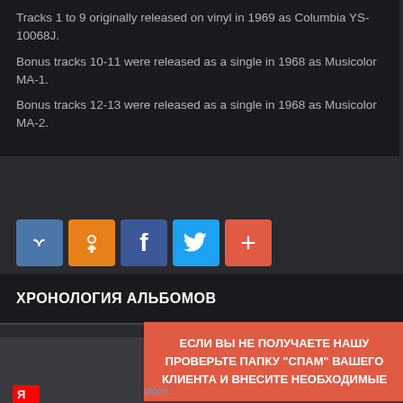Tracks 1 to 9 originally released on vinyl in 1969 as Columbia YS-10068J.
Bonus tracks 10-11 were released as a single in 1968 as Musicolor MA-1.
Bonus tracks 12-13 were released as a single in 1968 as Musicolor MA-2.
[Figure (infographic): Social sharing buttons: VK (blue), Odnoklassniki (orange), Facebook (blue), Twitter (light blue), More/Plus (red-orange)]
ХРОНОЛОГИЯ АЛЬБОМОВ
© 2009-2022 Чер...
ЕСЛИ ВЫ НЕ ПОЛУЧАЕТЕ НАШУ ПРОВЕРЬТЕ ПАПКУ "СПАМ" ВАШЕГО КЛИЕНТА И ВНЕСИТЕ НЕОБХОДИМЫЕ